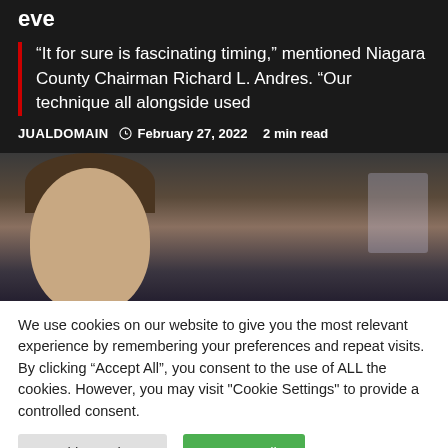eve
“It for sure is fascinating timing,” mentioned Niagara County Chairman Richard L. Andres. “Our technique all alongside used
JUALDOMAIN  February 27, 2022  2 min read
[Figure (photo): Close-up photo of a man's face, cropped above the eyes down to the chin, with a blurred flag visible in the background. Dark background.]
We use cookies on our website to give you the most relevant experience by remembering your preferences and repeat visits. By clicking “Accept All”, you consent to the use of ALL the cookies. However, you may visit "Cookie Settings" to provide a controlled consent.